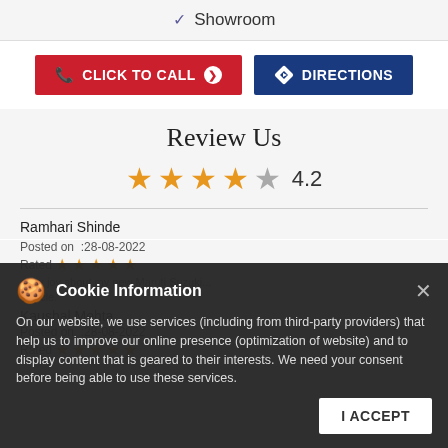✓ Showroom
CLICK TO CALL   DIRECTIONS
Review Us
★★★★☆ 4.2
Ramhari Shinde
Posted on : 28-08-2022
Rated ★★★★★
Kaushal Mehta
Posted on : 28-08-2022
Rated ★★★★★
Cookie Information
On our website, we use services (including from third-party providers) that help us to improve our online presence (optimization of website) and to display content that is geared to their interests. We need your consent before being able to use these services.
I ACCEPT